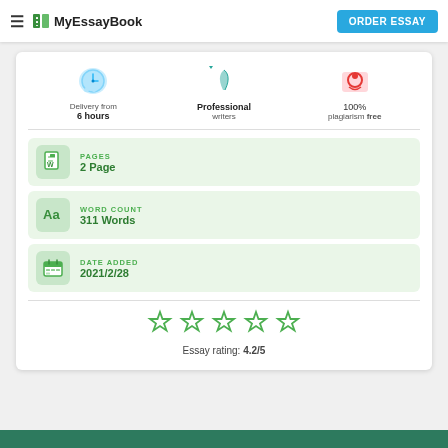MyEssayBook | ORDER ESSAY
[Figure (infographic): Three feature icons: clock (Delivery from 6 hours), pen (Professional writers), pin/ribbon (100% plagiarism free)]
PAGES — 2 Page
WORD COUNT — 311 Words
DATE ADDED — 2021/2/28
[Figure (infographic): 5 star rating icons (outline stars), Essay rating: 4.2/5]